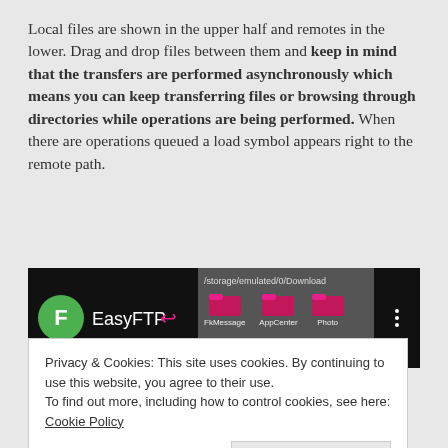Local files are shown in the upper half and remotes in the lower. Drag and drop files between them and keep in mind that the transfers are performed asynchronously which means you can keep transferring files or browsing through directories while operations are being performed. When there are operations queued a load symbol appears right to the remote path.
[Figure (screenshot): Screenshot of EasyFTP app interface showing a green circle with 'F', EasyFTP label with back arrow, and folder icons for FkMessage, AppCenter, Photo against dark background with a path /storage/emulated/0/Download]
Privacy & Cookies: This site uses cookies. By continuing to use this website, you agree to their use.
To find out more, including how to control cookies, see here: Cookie Policy
Close and accept